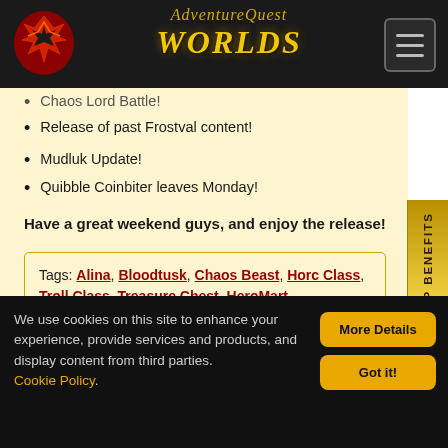AdventureQuest Worlds
Chaos Lord Battle!
Release of past Frostval content!
Mudluk Update!
Quibble Coinbiter leaves Monday!
Have a great weekend guys, and enjoy the release!
Tags: Alina, Bloodtusk, Chaos Beast, Horc Class, Troll Class, Treasure Chest, HeroMart,
We use cookies on this site to enhance your experience, provide services and products, and display content from third parties. Cookie Policy.